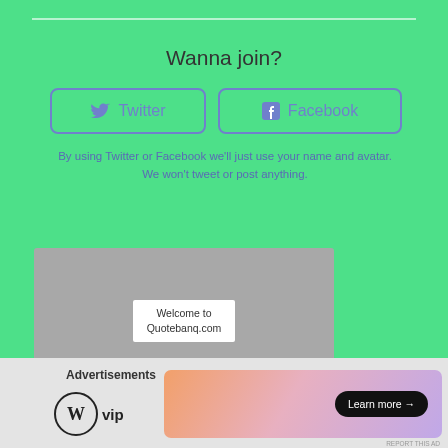Wanna join?
[Figure (screenshot): Twitter social login button with bird icon and border]
[Figure (screenshot): Facebook social login button with f icon and border]
By using Twitter or Facebook we'll just use your name and avatar. We won't tweet or post anything.
[Figure (screenshot): Gray placeholder video/image box with white label reading 'Welcome to Quotebanq.com']
[Figure (logo): Close/dismiss circle button with X symbol]
Advertisements
[Figure (logo): WordPress VIP logo — circle W with 'vip' text]
[Figure (screenshot): Gradient advertisement banner with 'Learn more →' black pill button]